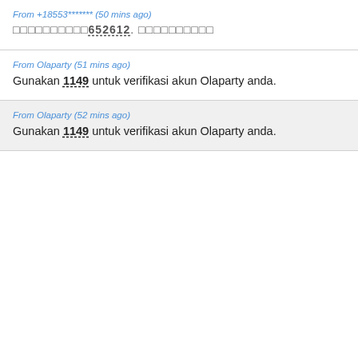From +18553******* (50 mins ago)
□□□□□□□□□□652612. □□□□□□□□□□
From Olaparty (51 mins ago)
Gunakan 1149 untuk verifikasi akun Olaparty anda.
From Olaparty (52 mins ago)
Gunakan 1149 untuk verifikasi akun Olaparty anda.